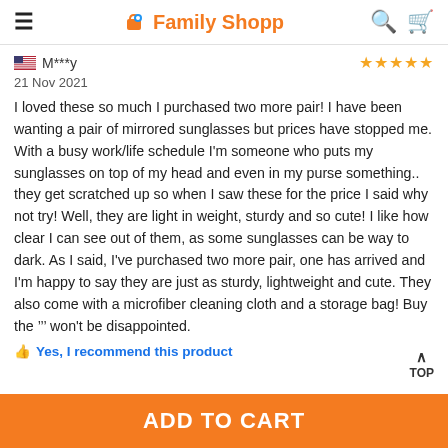Family Shopp
M***y — 21 Nov 2021 — ★★★★★
I loved these so much I purchased two more pair! I have been wanting a pair of mirrored sunglasses but prices have stopped me. With a busy work/life schedule I'm someone who puts my sunglasses on top of my head and even in my purse something.. they get scratched up so when I saw these for the price I said why not try! Well, they are light in weight, sturdy and so cute! I like how clear I can see out of them, as some sunglasses can be way to dark. As I said, I've purchased two more pair, one has arrived and I'm happy to say they are just as sturdy, lightweight and cute. They also come with a microfiber cleaning cloth and a storage bag! Buy the ''' won't be disappointed.
Yes, I recommend this product
ADD TO CART